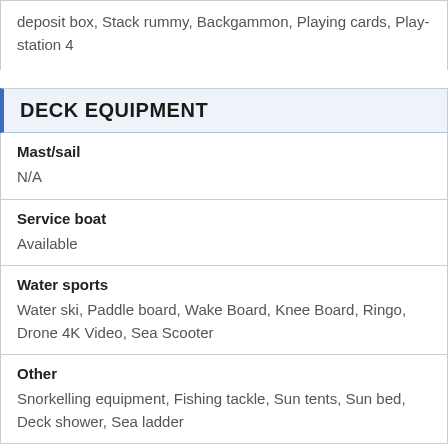deposit box, Stack rummy, Backgammon, Playing cards, PlayStation 4
DECK EQUIPMENT
| Field | Value |
| --- | --- |
| Mast/sail | N/A |
| Service boat | Available |
| Water sports | Water ski, Paddle board, Wake Board, Knee Board, Ringo, Drone 4K Video, Sea Scooter |
| Other | Snorkelling equipment, Fishing tackle, Sun tents, Sun bed, Deck shower, Sea ladder |